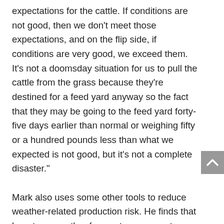expectations for the cattle. If conditions are not good, then we don't meet those expectations, and on the flip side, if conditions are very good, we exceed them. It's not a doomsday situation for us to pull the cattle from the grass because they're destined for a feed yard anyway so the fact that they may be going to the feed yard forty-five days earlier than normal or weighing fifty or a hundred pounds less than what we expected is not good, but it's not a complete disaster." Mark also uses some other tools to reduce weather-related production risk. He finds that long-term weather forecasts — one or two months ahead —